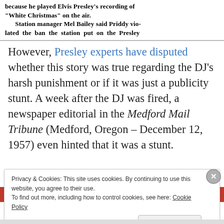[Figure (photo): Newspaper clipping (black and white) showing text: 'because he played Elvis Presley's recording of "White Christmas" on the air. Station manager Mel Bailey said Priddy violated the ban the station put on the Presley']
However, Presley experts have disputed whether this story was true regarding the DJ's harsh punishment or if it was just a publicity stunt. A week after the DJ was fired, a newspaper editorial in the Medford Mail Tribune (Medford, Oregon – December 12, 1957) even hinted that it was a stunt.
[Figure (screenshot): Partial red banner with black rounded rectangle element visible at top of image section]
Privacy & Cookies: This site uses cookies. By continuing to use this website, you agree to their use.
To find out more, including how to control cookies, see here: Cookie Policy
Close and accept